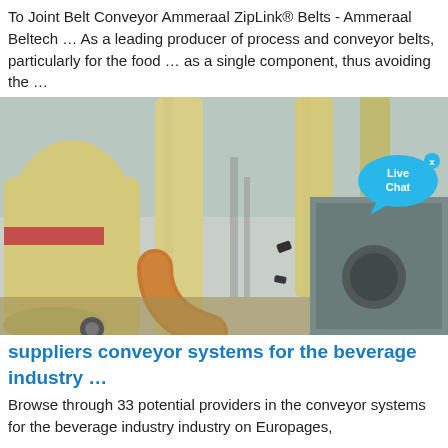To Joint Belt Conveyor Ammeraal ZipLink® Belts - Ammeraal Beltech … As a leading producer of process and conveyor belts, particularly for the food … as a single component, thus avoiding the …
[Figure (photo): Industrial conveyor or milling equipment — large yellow/cream colored cylindrical pipes and machinery photographed from ground level looking up, with a cloudy sky background. A 'Live Chat' speech bubble overlay is visible in the upper right corner.]
suppliers conveyor systems for the beverage industry …
Browse through 33 potential providers in the conveyor systems for the beverage industry industry on Europages,